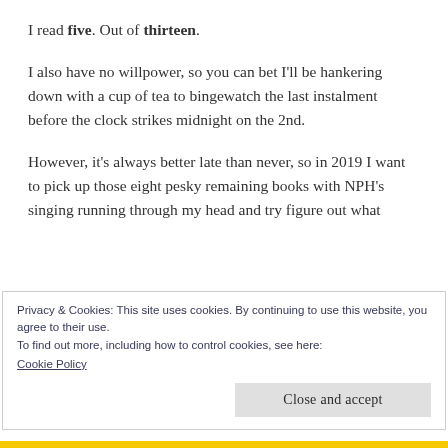I read five. Out of thirteen.
I also have no willpower, so you can bet I'll be hankering down with a cup of tea to bingewatch the last instalment before the clock strikes midnight on the 2nd.
However, it's always better late than never, so in 2019 I want to pick up those eight pesky remaining books with NPH's singing running through my head and try figure out what
Privacy & Cookies: This site uses cookies. By continuing to use this website, you agree to their use.
To find out more, including how to control cookies, see here:
Cookie Policy
Close and accept